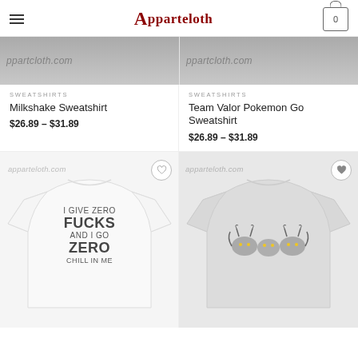Apparteloth
[Figure (photo): Top portion of two sweatshirt product images (cropped, partially visible) with apparteloth.com watermark text]
SWEATSHIRTS
Milkshake Sweatshirt
$26.89 – $31.89
SWEATSHIRTS
Team Valor Pokemon Go Sweatshirt
$26.89 – $31.89
[Figure (photo): White sweatshirt with text: I GIVE ZERO FUCKS AND I GO ZERO CHILL IN ME, with apparteloth.com watermark and heart wishlist button]
[Figure (photo): Gray sweatshirt with cat graphic design, with apparteloth.com watermark and heart wishlist button]